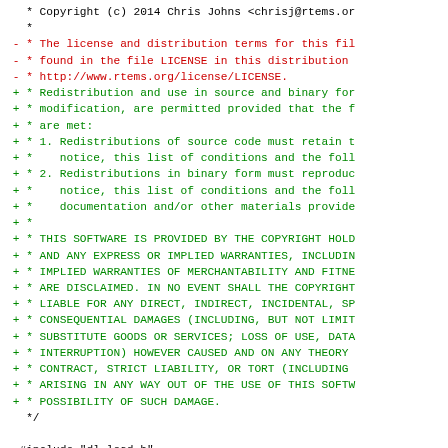Code diff showing license header change from RTEMS license to BSD redistribution license, followed by #include directive and diff header.